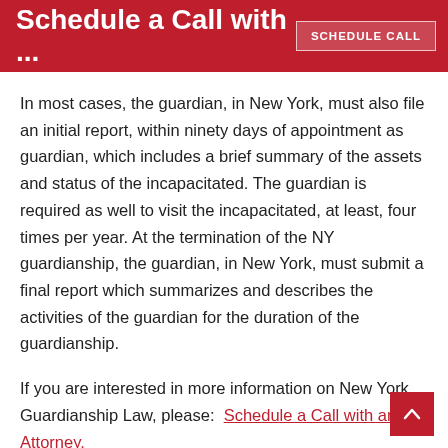Schedule a Call with ...
In most cases, the guardian, in New York, must also file an initial report, within ninety days of appointment as guardian, which includes a brief summary of the assets and status of the incapacitated. The guardian is required as well to visit the incapacitated, at least, four times per year. At the termination of the NY guardianship, the guardian, in New York, must submit a final report which summarizes and describes the activities of the guardian for the duration of the guardianship.
If you are interested in more information on New York Guardianship Law, please:  Schedule a Call with an Attorney.